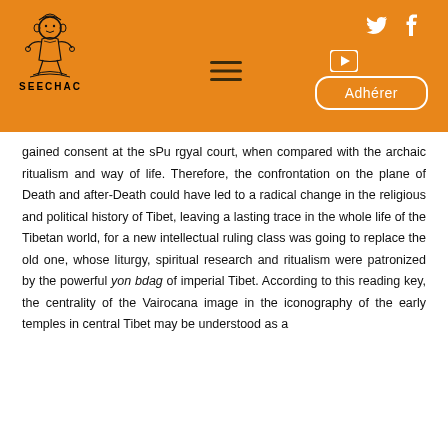[Figure (logo): SEECHAC organization logo with decorative figure and organization name below]
gained consent at the sPu rgyal court, when compared with the archaic ritualism and way of life. Therefore, the confrontation on the plane of Death and after-Death could have led to a radical change in the religious and political history of Tibet, leaving a lasting trace in the whole life of the Tibetan world, for a new intellectual ruling class was going to replace the old one, whose liturgy, spiritual research and ritualism were patronized by the powerful yon bdag of imperial Tibet. According to this reading key, the centrality of the Vairocana image in the iconography of the early temples in central Tibet may be understood as a